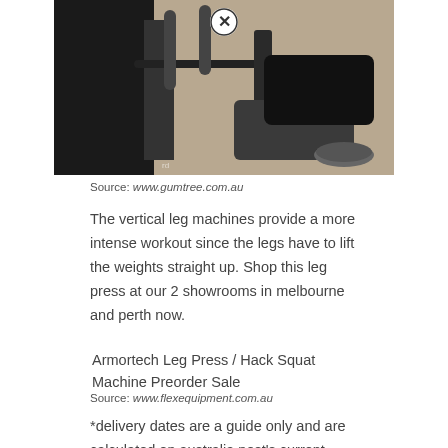[Figure (photo): Photo of a vertical leg press / hack squat gym machine on a gym floor, dark metal frame with padded seat, close-up angle]
Source: www.gumtree.com.au
The vertical leg machines provide a more intense workout since the legs have to lift the weights straight up. Shop this leg press at our 2 showrooms in melbourne and perth now.
[Figure (photo): Armortech Leg Press / Hack Squat Machine Preorder Sale product image (broken/missing image placeholder)]
Source: www.flexequipment.com.au
*delivery dates are a guide only and are calculated on australia post's current delivery estimates. The leg press/hack